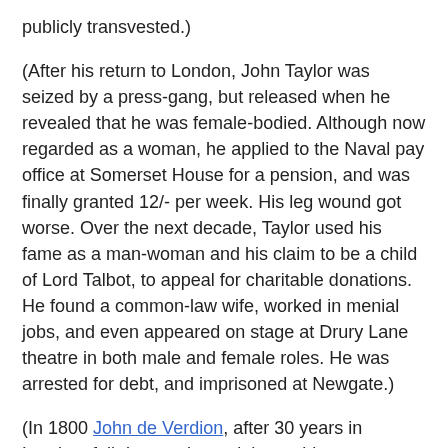publicly transvested.)
(After his return to London, John Taylor was seized by a press-gang, but released when he revealed that he was female-bodied. Although now regarded as a woman, he applied to the Naval pay office at Somerset House for a pension, and was finally granted 12/- per week. His leg wound got worse. Over the next decade, Taylor used his fame as a man-woman and his claim to be a child of Lord Talbot, to appeal for charitable donations. He found a common-law wife, worked in menial jobs, and even appeared on stage at Drury Lane theatre in both male and female roles. He was arrested for debt, and imprisoned at Newgate.)
(In 1800 John de Verdion, after 30 years in London, fell downstairs and the problem developed into dropsy. Despite the ministrations of a German physician who lived in the same house, he died. By his will he bequeathed all to